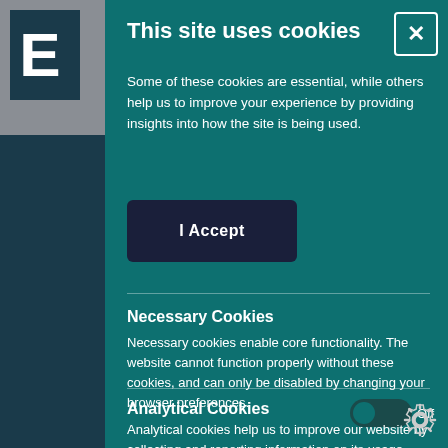This site uses cookies
Some of these cookies are essential, while others help us to improve your experience by providing insights into how the site is being used.
I Accept
Necessary Cookies
Necessary cookies enable core functionality. The website cannot function properly without these cookies, and can only be disabled by changing your browser preferences.
Analytical Cookies
Analytical cookies help us to improve our website by collecting and reporting information on its usage.